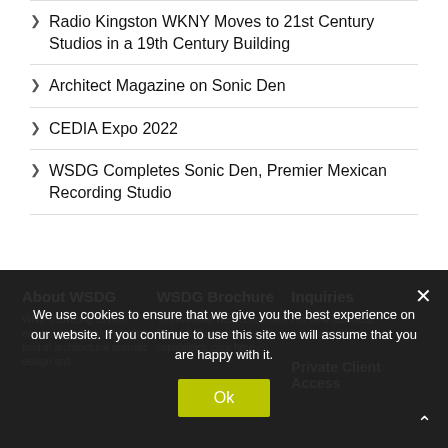Radio Kingston WKNY Moves to 21st Century Studios in a 19th Century Building
Architect Magazine on Sonic Den
CEDIA Expo 2022
WSDG Completes Sonic Den, Premier Mexican Recording Studio
About WSDG | WSDG Brochure | Inquiries | While delivering custom enterprise technology in the field of architectural acoustic design and | To download WSDG brochure for a full illustration of our capabilities, click here. | For New Business: info@wsdg.com | Private Client Access
We use cookies to ensure that we give you the best experience on our website. If you continue to use this site we will assume that you are happy with it.